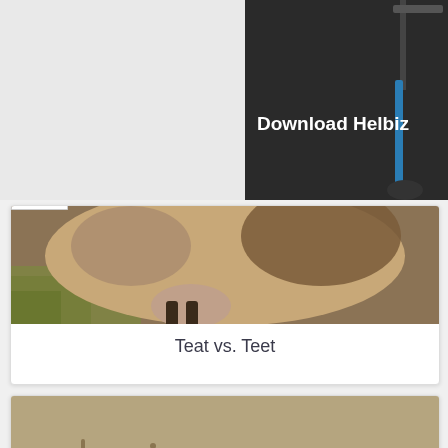[Figure (photo): Advertisement for Helbiz app showing a blue electric scooter against a dark background with text 'Download Helbiz']
[Figure (photo): Close-up photo of a cow's underbelly and teats in a grassy field]
Teat vs. Teet
[Figure (photo): Photo of the word 'being' written in sand on a beach]
Beeing vs. Being